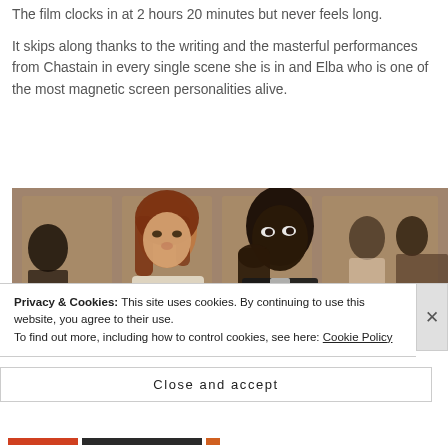The film clocks in at 2 hours 20 minutes but never feels long.
It skips along thanks to the writing and the masterful performances from Chastain in every single scene she is in and Elba who is one of the most magnetic screen personalities alive.
[Figure (photo): Photo of two actors in a courtroom or formal setting — a woman with auburn hair (Jessica Chastain) and a man (Idris Elba) with other figures in the background.]
Privacy & Cookies: This site uses cookies. By continuing to use this website, you agree to their use.
To find out more, including how to control cookies, see here: Cookie Policy
Close and accept